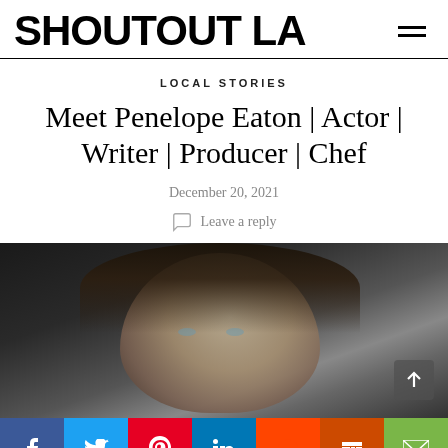SHOUTOUT LA
LOCAL STORIES
Meet Penelope Eaton | Actor | Writer | Producer | Chef
December 20, 2021
Leave a reply
[Figure (photo): Black and white close-up portrait photograph of a person with dark hair against a dark background, cropped to show the upper portion of the face]
[Figure (infographic): Social media share bar with buttons for Facebook, Twitter, Pinterest, LinkedIn, Reddit, Mix, and Email]